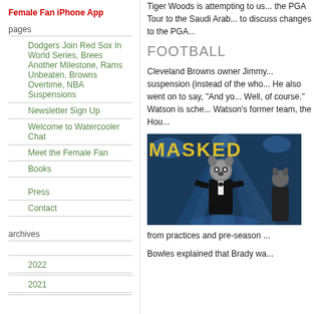Female Fan iPhone App
pages
Dodgers Join Red Sox In World Series, Brees Another Milestone, Rams Unbeaten, Browns Overtime, NBA Suspensions
Newsletter Sign Up
Welcome to Watercooler Chat
Meet the Female Fan
Books
Press
Contact
archives
2022
2021
Tiger Woods is attempting to us... the PGA Tour to the Saudi Arab... to discuss changes to the PGA...
FOOTBALL
Cleveland Browns owner Jimmy... suspension (instead of the who... He also went on to say, "And yo... Well, of course." Watson is sche... Watson's former team, the Hou...
[Figure (photo): Masked Singer television show performance with costumed performer on stage with blue stage lighting]
from practices and pre-season ...
Bowles explained that Brady wa...